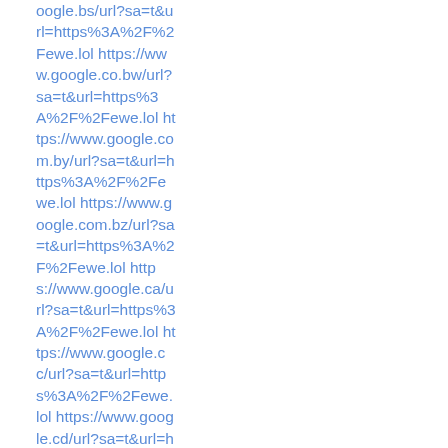oogle.bs/url?sa=t&url=https%3A%2F%2Fewe.lol https://www.google.co.bw/url?sa=t&url=https%3A%2F%2Fewe.lol https://www.google.com.by/url?sa=t&url=https%3A%2F%2Fewe.lol https://www.google.com.bz/url?sa=t&url=https%3A%2F%2Fewe.lol https://www.google.ca/url?sa=t&url=https%3A%2F%2Fewe.lol https://www.google.cc/url?sa=t&url=https%3A%2F%2Fewe.lol https://www.google.cd/url?sa=t&url=https%3A%2F%2Fewe.lol https://www.google.cf/url?sa=t&url=https%3A%2F%2Fewe.lol https://www.google.cg/url?sa=t&url=https%3A%2F%2Fewe.lol http s://www.google.ch/u